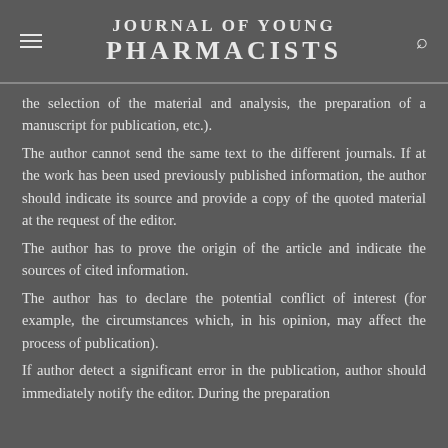JOURNAL OF YOUNG PHARMACISTS
the selection of the material and analysis, the preparation of a manuscript for publication, etc.).
The author cannot send the same text to the different journals. If at the work has been used previously published information, the author should indicate its source and provide a copy of the quoted material at the request of the editor.
The author has to prove the origin of the article and indicate the sources of cited information.
The author has to declare the potential conflict of interest (for example, the circumstances which, in his opinion, may affect the process of publication).
If author detect a significant error in the publication, author should immediately notify the editor. During the preparation